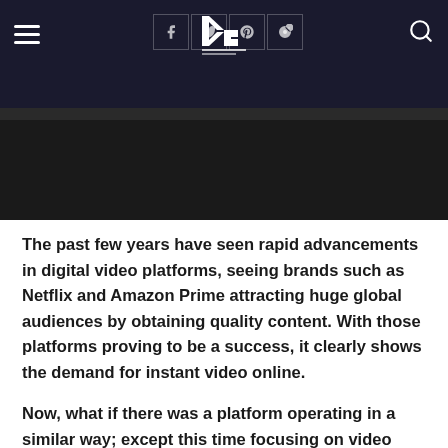[Figure (screenshot): Website header with dark navy background showing hamburger menu on left, social media icon buttons (Facebook, Twitter, Pinterest, Instagram), centered logo with stylized 'KB' monogram in black and white, and search icon on far right]
The past few years have seen rapid advancements in digital video platforms, seeing brands such as Netflix and Amazon Prime attracting huge global audiences by obtaining quality content. With those platforms proving to be a success, it clearly shows the demand for instant video online.
Now, what if there was a platform operating in a similar way; except this time focusing on video content aimed at